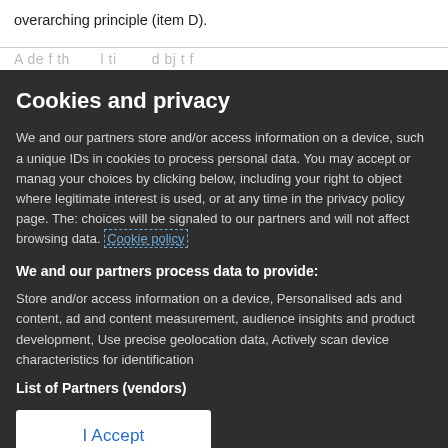overarching principle (item D).
A de f th l ti d bj t f
Cookies and privacy
We and our partners store and/or access information on a device, such as unique IDs in cookies to process personal data. You may accept or manage your choices by clicking below, including your right to object where legitimate interest is used, or at any time in the privacy policy page. These choices will be signaled to our partners and will not affect browsing data. Cookie policy
We and our partners process data to provide:
Store and/or access information on a device, Personalised ads and content, ad and content measurement, audience insights and product development, Use precise geolocation data, Actively scan device characteristics for identification
List of Partners (vendors)
I Accept